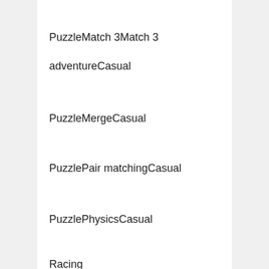PuzzleMatch 3Match 3
adventureCasual
PuzzleMergeCasual
PuzzlePair matchingCasual
PuzzlePhysicsCasual
Racing
RacingCar
RacingCarCasual
RacingCasual